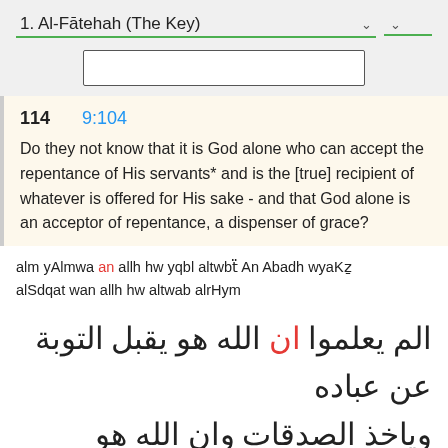1. Al-Fātehah (The Key)
114   9:104
Do they not know that it is God alone who can accept the repentance of His servants* and is the [true] recipient of whatever is offered for His sake - and that God alone is an acceptor of repentance, a dispenser of grace?
alm yAlmwa an allh hw yqbl altwbẗ An Abadh wyaKẕ alSdqat wan allh hw altwab alrHym
الم يعلموا ان الله هو يقبل التوبة عن عباده وياخذ الصدقات وان الله هو التواب الرحيم